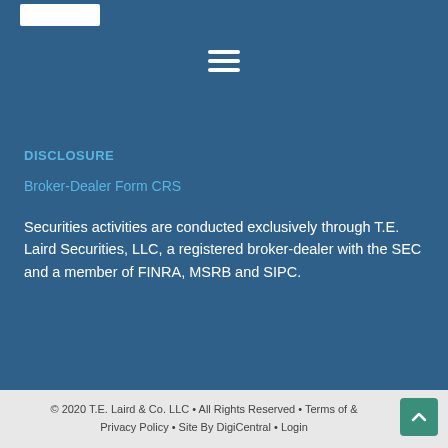[Figure (logo): White rectangle logo placeholder in top left]
[Figure (other): Hamburger menu icon (three white horizontal lines) centered near top]
DISCLOSURE
Broker-Dealer Form CRS
Securities activities are conducted exclusively through T.E. Laird Securities, LLC, a registered broker-dealer with the SEC and a member of FINRA, MSRB and SIPC.
© 2020 T.E. Laird & Co. LLC • All Rights Reserved • Terms of & Privacy Policy • Site By DigiCentral • Login